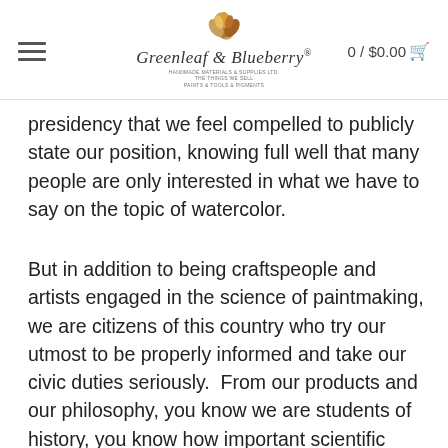Greenleaf & Blueberry® 0 / $0.00
presidency that we feel compelled to publicly state our position, knowing full well that many people are only interested in what we have to say on the topic of watercolor.
But in addition to being craftspeople and artists engaged in the science of paintmaking, we are citizens of this country who try our utmost to be properly informed and take our civic duties seriously.  From our products and our philosophy, you know we are students of history, you know how important scientific scrutiny of the details is to us, and I want to let you know that we apply these same thorough and inquisitive principles to the other aspects of our lives.  We do not form convictions lightly.  We are not interested in click-bait journalism, accepting rumors or hyperboles as fact, or holding onto outdated traditions and habits that do not fit